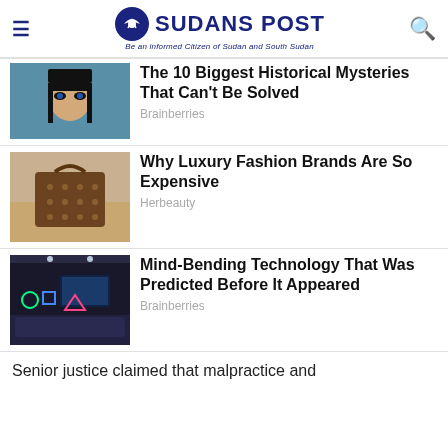SUDANS POST — Be an informed Citizen of Sudan and South Sudan
The 10 Biggest Historical Mysteries That Can't Be Solved
Brainberries
Why Luxury Fashion Brands Are So Expensive
Herbeauty
Mind-Bending Technology That Was Predicted Before It Appeared
Brainberries
Senior justice claimed that malpractice and